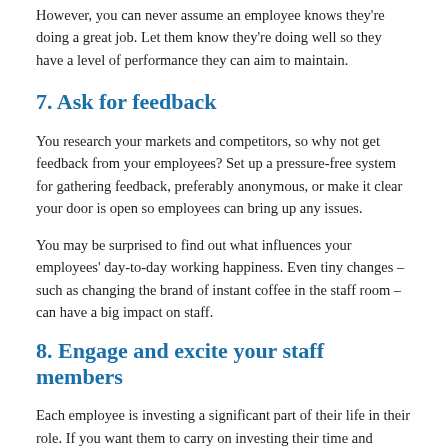However, you can never assume an employee knows they're doing a great job. Let them know they're doing well so they have a level of performance they can aim to maintain.
7. Ask for feedback
You research your markets and competitors, so why not get feedback from your employees? Set up a pressure-free system for gathering feedback, preferably anonymous, or make it clear your door is open so employees can bring up any issues.
You may be surprised to find out what influences your employees' day-to-day working happiness. Even tiny changes – such as changing the brand of instant coffee in the staff room – can have a big impact on staff.
8. Engage and excite your staff members
Each employee is investing a significant part of their life in their role. If you want them to carry on investing their time and future, make your workplace meaningful and the company fun to work